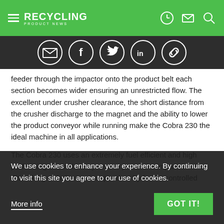RECYCLING PRODUCT NEWS
[Figure (infographic): Social sharing icons: email, Facebook, Twitter, LinkedIn, link]
feeder through the impactor onto the product belt each section becomes wider ensuring an unrestricted flow. The excellent under crusher clearance, the short distance from the crusher discharge to the magnet and the ability to lower the product conveyor while running make the Cobra 230 the ideal machine in all applications.
The Cobra 230 uses an extremely fuel efficient and high performing direct drive system to power the impact crusher. This along with the two independent hydraulic controlled
We use cookies to enhance your experience. By continuing to visit this site you agree to our use of cookies.
More info
GOT IT!